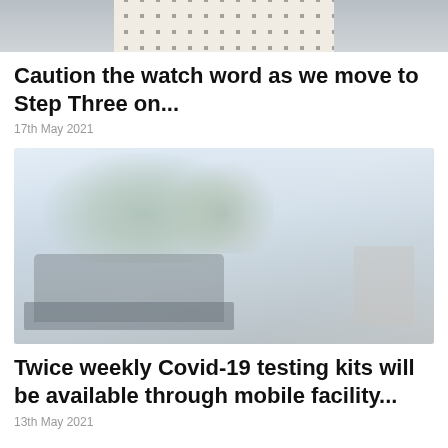[Figure (photo): Partial photo of a person wearing a white polka-dot patterned top, cropped at top of page]
Caution the watch word as we move to Step Three on...
17th May 2021
[Figure (photo): Faded outdoor photo showing trees and a dark van or vehicle in a car park area]
Twice weekly Covid-19 testing kits will be available through mobile facility...
13th May 2021